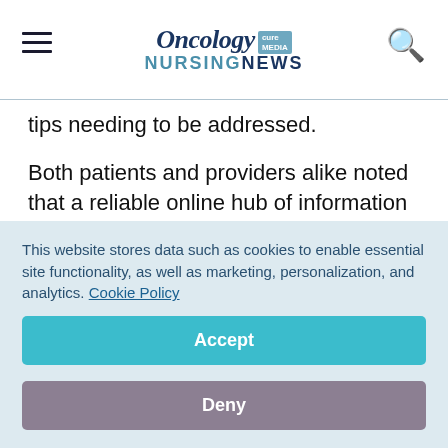Oncology Nursing News
tips needing to be addressed.
Both patients and providers alike noted that a reliable online hub of information and resources regarding metastatic breast cancer was needed. Patients with newly diagnosed metastatic breast cancer who were Black, or under the age of 45
This website stores data such as cookies to enable essential site functionality, as well as marketing, personalization, and analytics. Cookie Policy
Accept
Deny